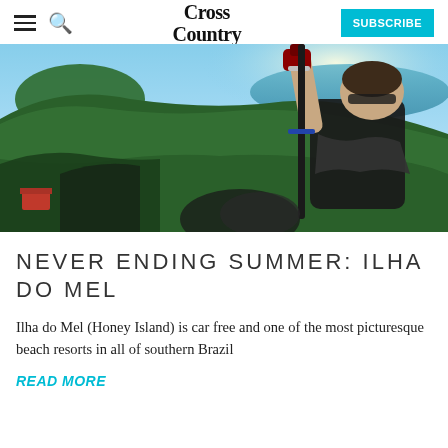Cross Country — SUBSCRIBE
[Figure (photo): A paraglider pilot in black vest with harness and gloves holds a control bar, aerial view showing tropical green hillside island and ocean coastline below, taken with a wide-angle action camera]
NEVER ENDING SUMMER: ILHA DO MEL
Ilha do Mel (Honey Island) is car free and one of the most picturesque beach resorts in all of southern Brazil
READ MORE